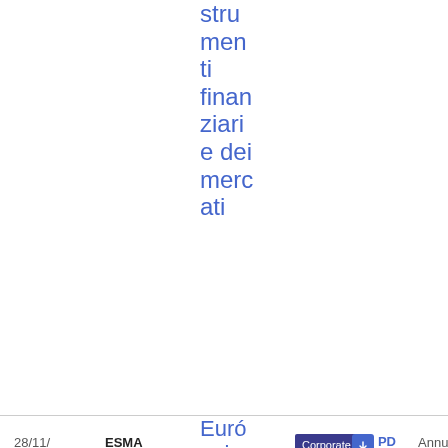strumenti finanziari e dei mercati
28/11/2014 | ESMA 2013 AR HU | Európai Értékpapír-piaci Hatóság | Corporate Information | Annual Report | PDF | 287.87 KB
28/11/2014 | ESMA 2013 AR EL | Ευρωπαϊκή Αρχή... | Corporate Information | Annual Report | PDF | 33...